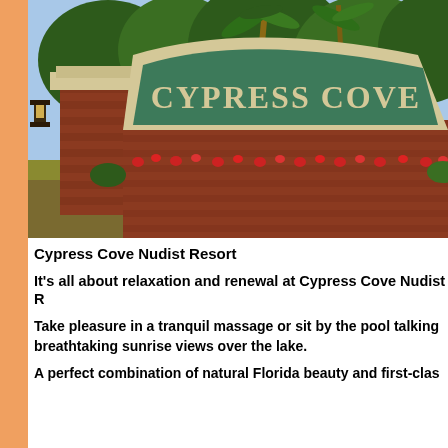[Figure (photo): Entrance sign for Cypress Cove Nudist Resort — a brick monument sign with a green arched panel displaying 'CYPRESS COVE' in cream/gold letters, flanked by brick pillars, with red flowering plants at the base and palm trees and green foliage in the background.]
Cypress Cove Nudist Resort
It's all about relaxation and renewal at Cypress Cove Nudist R…
Take pleasure in a tranquil massage or sit by the pool talking … breathtaking sunrise views over the lake.
A perfect combination of natural Florida beauty and first-clas…